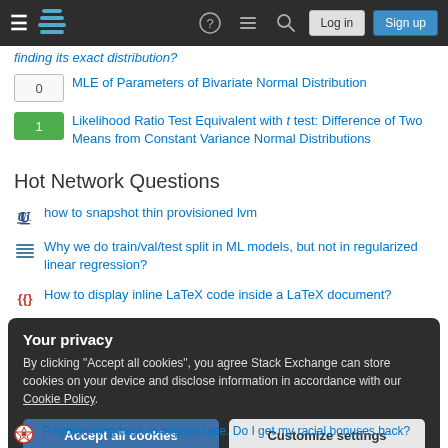Stack Exchange navigation bar with Log in and Sign up buttons
finding its exact distribution?
0  MLE of Parameters of Bivariate Normal Distribution
1  Likelihood Ratio Test Equivalent with t test: Difference of Two Means from Constant Variance Normal Distributions
Hot Network Questions
how to snapshot thin provisioned lvm
Why we do train/val/test split in ML models, but not in regularized linear regression?
How to display inline LaTeX code inside a LaTeX document?
Your privacy
By clicking "Accept all cookies", you agree Stack Exchange can store cookies on your device and disclose information in accordance with our Cookie Policy.
Polymorphing back to original race. Do I get my racial bonuses back?